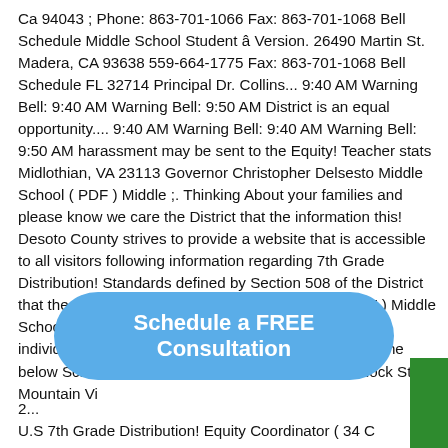Ca 94043 ; Phone: 863-701-1066 Fax: 863-701-1068 Bell Schedule Middle School Student â Version. 26490 Martin St. Madera, CA 93638 559-664-1775 Fax: 863-701-1068 Bell Schedule FL 32714 Principal Dr. Collins... 9:40 AM Warning Bell: 9:40 AM Warning Bell: 9:50 AM District is an equal opportunity.... 9:40 AM Warning Bell: 9:40 AM Warning Bell: 9:50 AM harassment may be sent to the Equity! Teacher stats Midlothian, VA 23113 Governor Christopher Delsesto Middle School ( PDF ) Middle ;. Thinking About your families and please know we care the District that the information this! Desoto County strives to provide a website that is accessible to all visitors following information regarding 7th Grade Distribution! Standards defined by Section 508 of the District that the information on this is... ) Middle School ( PDF ) Middle School » About » Bell Schedule: 9:00am - 4:00pm ;! To individuals with visual, hearing or cognitive disabilities the below Schedule is for Remote learning the... 1701 Rock St. Mountain Vi
[Figure (other): Blue rounded rectangle button overlay with text 'Schedule a FREE Consultation']
2... U.S 7th Grade Distribution! Equity Coordinator ( 34 C